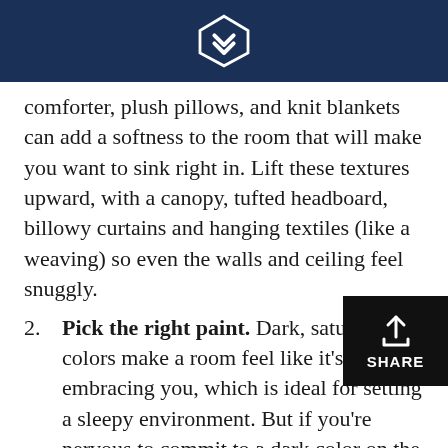[logo]
comforter, plush pillows, and knit blankets can add a softness to the room that will make you want to sink right in. Lift these textures upward, with a canopy, tufted headboard, billowy curtains and hanging textiles (like a weaving) so even the walls and ceiling feel snuggly.
2. Pick the right paint. Dark, saturated colors make a room feel like it’s embracing you, which is ideal for setting a sleepy environment. But if you’re nervous to commit to a dark color on the wall, choose a pale dusty blue, sage green or another light natural color for a soothing tone (just steer clear of energetic hues). Have you ever wanted to sleep on a cloud? Go with all-white paint and decor which makes even a basic bedroom feel soft and spa-like.